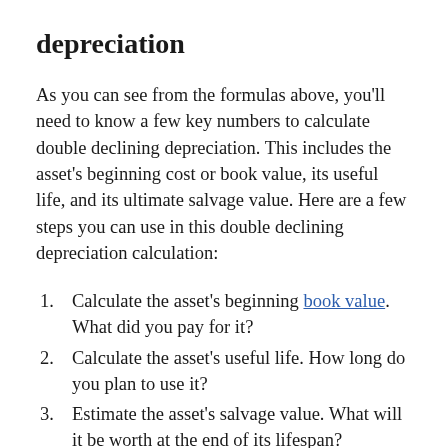depreciation
As you can see from the formulas above, you'll need to know a few key numbers to calculate double declining depreciation. This includes the asset's beginning cost or book value, its useful life, and its ultimate salvage value. Here are a few steps you can use in this double declining depreciation calculation:
Calculate the asset's beginning book value. What did you pay for it?
Calculate the asset's useful life. How long do you plan to use it?
Estimate the asset's salvage value. What will it be worth at the end of its lifespan?